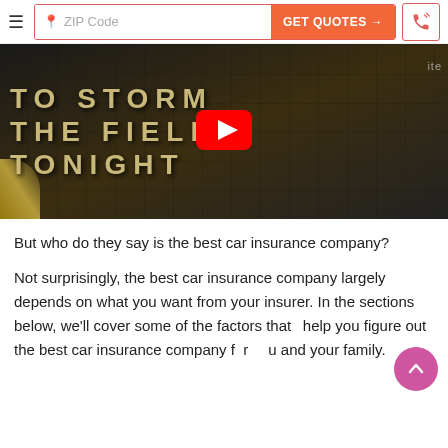ZIP Code  GET QUOTES →  [phone icon]
[Figure (screenshot): YouTube video thumbnail showing football players in a locker room tunnel with large gold block letters reading 'TO STORM THE FIELD TONIGHT' and a YouTube play button in the center]
But who do they say is the best car insurance company?
Not surprisingly, the best car insurance company largely depends on what you want from your insurer. In the sections below, we'll cover some of the factors that help you figure out the best car insurance company for you and your family.